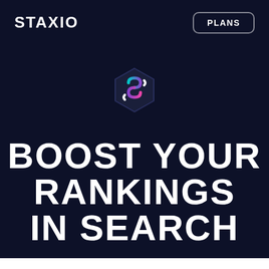STAXIO
PLANS
[Figure (logo): Staxio hexagon logo with stylized S shape in teal and magenta gradient on dark background]
BOOST YOUR RANKINGS IN SEARCH